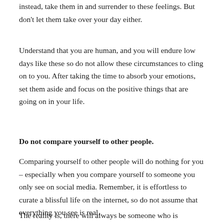instead, take them in and surrender to these feelings. But don't let them take over your day either.
Understand that you are human, and you will endure low days like these so do not allow these circumstances to cling on to you. After taking the time to absorb your emotions, set them aside and focus on the positive things that are going on in your life.
Do not compare yourself to other people.
Comparing yourself to other people will do nothing for you – especially when you compare yourself to someone you only see on social media. Remember, it is effortless to curate a blissful life on the internet, so do not assume that everything you see is real.
The reality is, there will always be someone who is doing greater or getting better than you at...